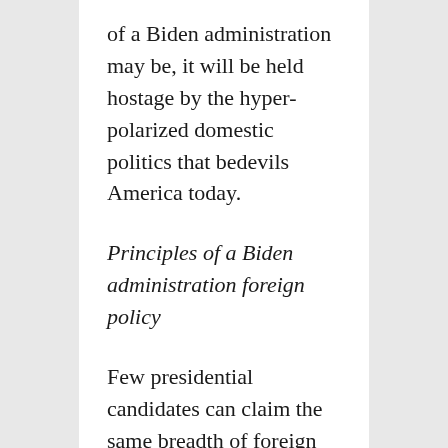of a Biden administration may be, it will be held hostage by the hyper-polarized domestic politics that bedevils America today.
Principles of a Biden administration foreign policy
Few presidential candidates can claim the same breadth of foreign